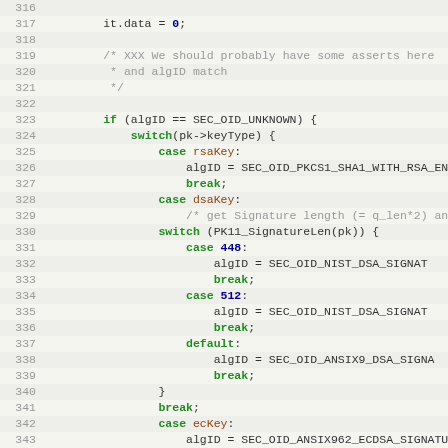Source code listing, lines 316-347, C/C++ code showing cryptographic signature algorithm selection logic